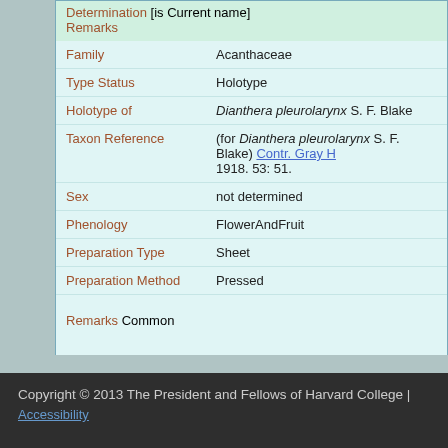Determination [is Current name] Remarks
| Field | Value |
| --- | --- |
| Family | Acanthaceae |
| Type Status | Holotype |
| Holotype of | Dianthera pleurolarynx S. F. Blake |
| Taxon Reference | (for Dianthera pleurolarynx S. F. Blake) Contr. Gray H 1918. 53: 51. |
| Sex | not determined |
| Phenology | FlowerAndFruit |
| Preparation Type | Sheet |
| Preparation Method | Pressed |
Remarks Common
Copyright © 2013 The President and Fellows of Harvard College | Accessibility